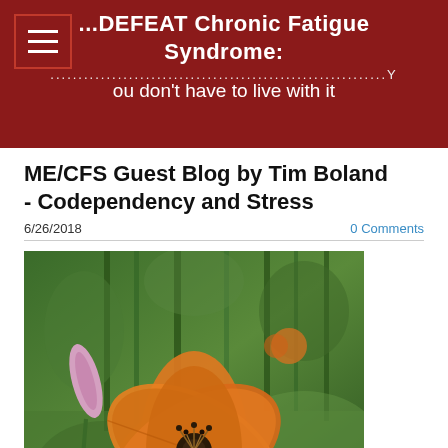...DEFEAT Chronic Fatigue Syndrome: ....................................................................You don't have to live with it
ME/CFS Guest Blog by Tim Boland - Codependency and Stress
6/26/2018
0 Comments
[Figure (photo): Close-up photograph of an orange daylily flower in bloom with green stems and foliage in the background]